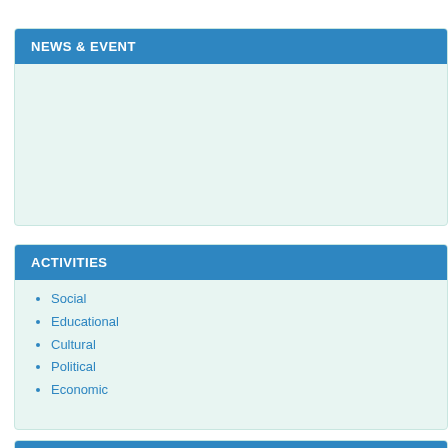NEWS & EVENT
ACTIVITIES
Social
Educational
Cultural
Political
Economic
WHO'S ONLINE